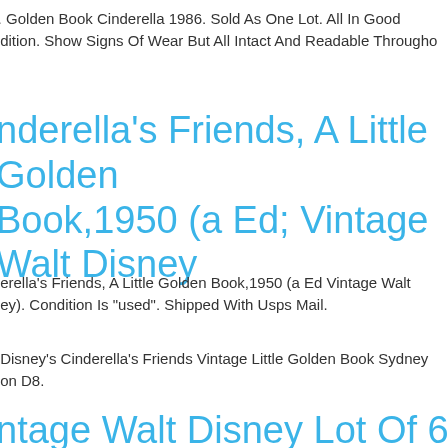. Golden Book Cinderella 1986. Sold As One Lot. All In Good Condition. Show Signs Of Wear But All Intact And Readable Througho
nderella's Friends, A Little Golden Book,1950 (a Ed; Vintage Walt Disney
erella's Friends, A Little Golden Book,1950 (a Ed Vintage Walt ey). Condition Is "used". Shipped With Usps Mail.
Disney's Cinderella's Friends Vintage Little Golden Book Sydney on D8.
ntage Walt Disney Lot Of 6 Little olden Books Snow White, Cinderella